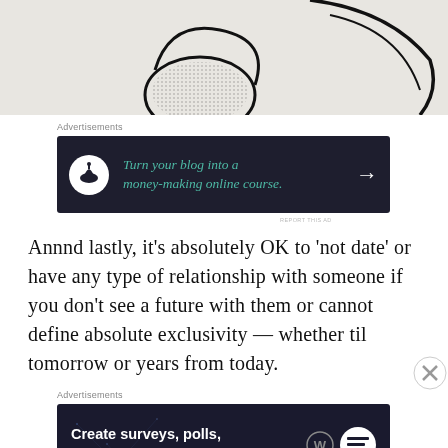[Figure (illustration): Partial illustration on light beige background showing black line-art figures]
Advertisements
[Figure (infographic): Dark navy advertisement banner: Turn your blog into a money-making online course. With bonsai tree icon and right arrow.]
REPORT THIS AD
Annnd lastly, it’s absolutely OK to ‘not date’ or have any type of relationship with someone if you don’t see a future with them or cannot define absolute exclusivity — whether til tomorrow or years from today.
Advertisements
[Figure (infographic): Dark navy advertisement banner: Create surveys, polls, quizzes, and forms. With WordPress and Survey Sparrow logos.]
REPORT THIS AD